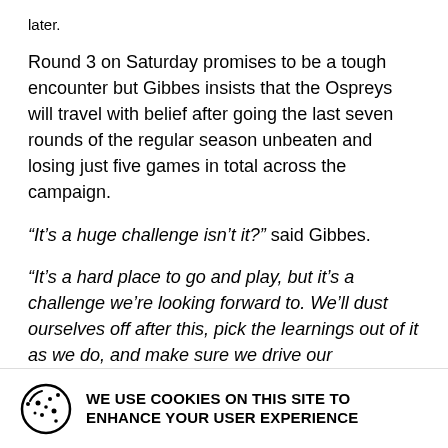later.
Round 3 on Saturday promises to be a tough encounter but Gibbes insists that the Ospreys will travel with belief after going the last seven rounds of the regular season unbeaten and losing just five games in total across the campaign.
“It’s a huge challenge isn’t it?” said Gibbes.
“It’s a hard place to go and play, but it’s a challenge we’re looking forward to. We’ll dust ourselves off after this, pick the learnings out of it as we do, and make sure we drive our performance to get the result we want.
“We’re not intimidated by going out there. We just
WE USE COOKIES ON THIS SITE TO ENHANCE YOUR USER EXPERIENCE